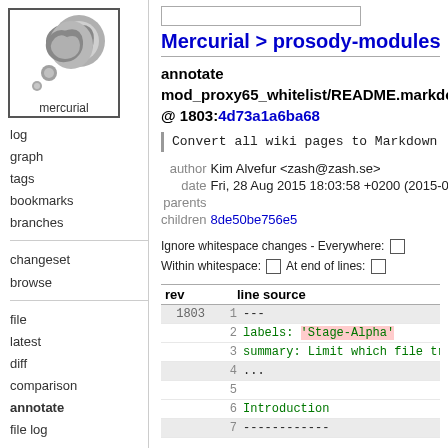[Figure (logo): Mercurial logo - grey swirl with dots, text 'mercurial' below, inside a square border]
log
graph
tags
bookmarks
branches
changeset
browse
file
latest
diff
comparison
annotate
file log
raw
Mercurial > prosody-modules
annotate mod_proxy65_whitelist/README.markdown @ 1803:4d73a1a6ba68
Convert all wiki pages to Markdown
author  Kim Alvefur <zash@zash.se>
date  Fri, 28 Aug 2015 18:03:58 +0200 (2015-08-
parents
children 8de50be756e5
Ignore whitespace changes - Everywhere: [ ]
Within whitespace: [ ] At end of lines: [ ]
| rev | line source |
| --- | --- |
| 1803 | 1 | --- |
|  | 2 | labels: 'Stage-Alpha' |
|  | 3 | summary: Limit which file transfer u |
|  | 4 | ... |
|  | 5 |  |
|  | 6 | Introduction |
|  | 7 | ------------ |